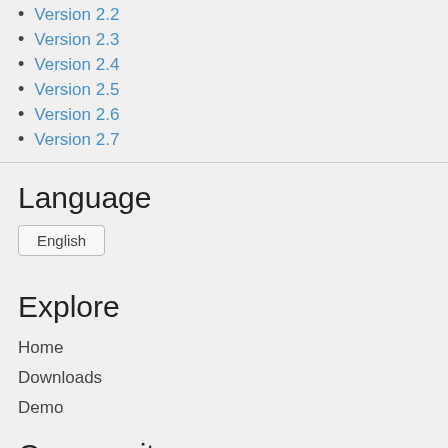Version 2.2
Version 2.3
Version 2.4
Version 2.5
Version 2.6
Version 2.7
Language
English
Explore
Home
Downloads
Demo
Community